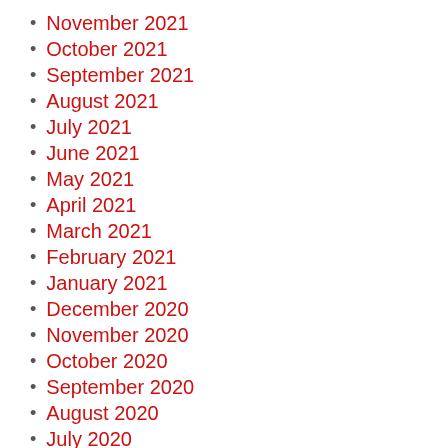November 2021
October 2021
September 2021
August 2021
July 2021
June 2021
May 2021
April 2021
March 2021
February 2021
January 2021
December 2020
November 2020
October 2020
September 2020
August 2020
July 2020
June 2020